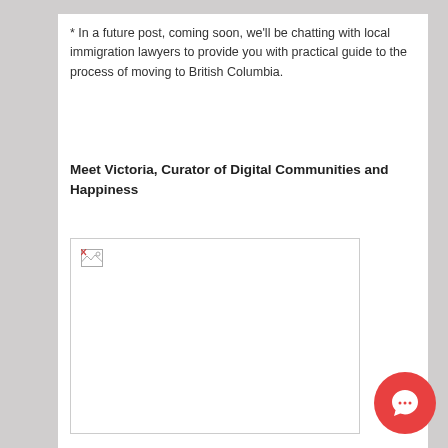* In a future post, coming soon, we’ll be chatting with local immigration lawyers to provide you with practical guide to the process of moving to British Columbia.
Meet Victoria, Curator of Digital Communities and Happiness
[Figure (photo): Placeholder image (broken/unloaded image) for Victoria, Curator of Digital Communities and Happiness]